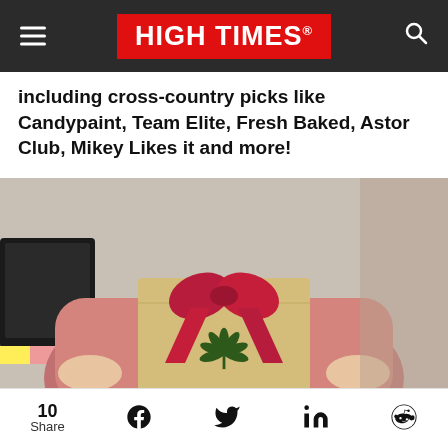HIGH TIMES
including cross-country picks like Candypaint, Team Elite, Fresh Baked, Astor Club, Mikey Likes it and more!
[Figure (photo): Person in pink sweater holding a gold gift envelope with a red satin bow and a cannabis leaf printed on it]
10 Share | Facebook | Twitter | LinkedIn | Reddit